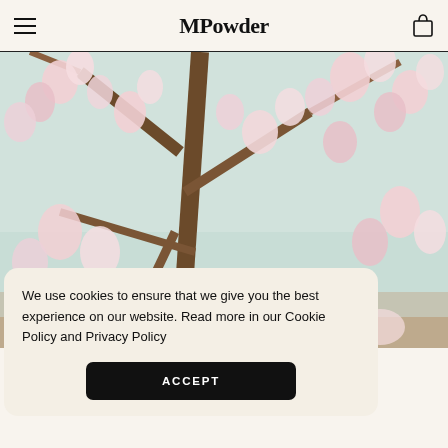MPowder
[Figure (photo): A close-up photograph of pink magnolia blossoms on tree branches against a light sky background]
We use cookies to ensure that we give you the best experience on our website. Read more in our Cookie Policy and Privacy Policy
ACCEPT